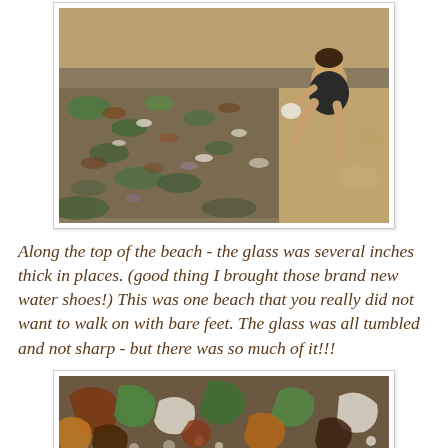[Figure (photo): A child sitting on a beach covered with sea glass pieces - green, brown, white and multi-colored tumbled glass shards mixed with sand and pebbles.]
Along the top of the beach - the glass was several inches thick in places. (good thing I brought those brand new water shoes!) This was one beach that you really did not want to walk on with bare feet. The glass was all tumbled and not sharp - but there was so much of it!!!
[Figure (photo): Close-up photograph of sea glass pieces - green, brown, white, amber and clear tumbled glass shards on a beach, showing various sizes and colors of smooth weathered glass.]